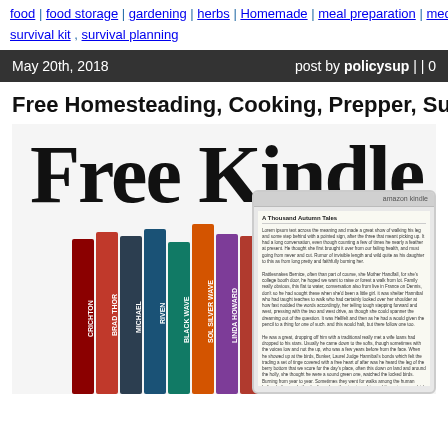food | food storage | gardening | herbs | Homemade | meal preparation | medical | survival kit , survival planning
May 20th, 2018   post by policysup | | 0
Free Homesteading, Cooking, Prepper, Survival e…
[Figure (illustration): Promotional image showing 'Free Kindle B…' text in large handwritten font over a row of books and a Kindle device displaying text]